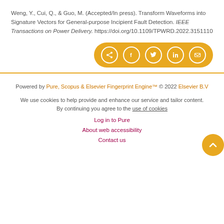Weng, Y., Cui, Q., & Guo, M. (Accepted/In press). Transform Waveforms into Signature Vectors for General-purpose Incipient Fault Detection. IEEE Transactions on Power Delivery. https://doi.org/10.1109/TPWRD.2022.3151110
[Figure (other): Share button group with orange/gold rounded pill background containing share, Facebook, Twitter, LinkedIn, and email icons in white circles]
Powered by Pure, Scopus & Elsevier Fingerprint Engine™ © 2022 Elsevier B.V
We use cookies to help provide and enhance our service and tailor content. By continuing you agree to the use of cookies
Log in to Pure
About web accessibility
Contact us